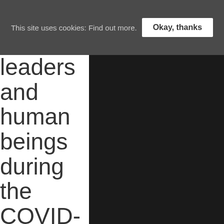This site uses cookies: Find out more. [Okay, thanks]
leaders and human beings during the COVID-19 pandemic
By LocalConcept | news, Uncategorized | No Comments
We all have gone through a crisis